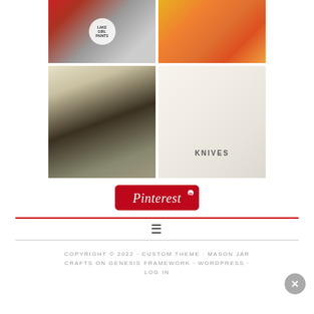[Figure (photo): Grid of four mason jar craft photos: top-left shows a candle lantern jar with industrial look and Lake Girl Paints logo; top-right shows colorful painted orange and yellow mason jars with candy corn; bottom-left shows black bird silhouette decor with mason jars; bottom-right shows white mason jars labeled SPOONS, KNIVES, FORKS holding utensils]
[Figure (logo): Pinterest red button with white cursive Pinterest logo]
COPYRIGHT © 2022 · CUSTOM THEME · MASON JAR CRAFTS ON GENESIS FRAMEWORK · WORDPRESS · LOG IN